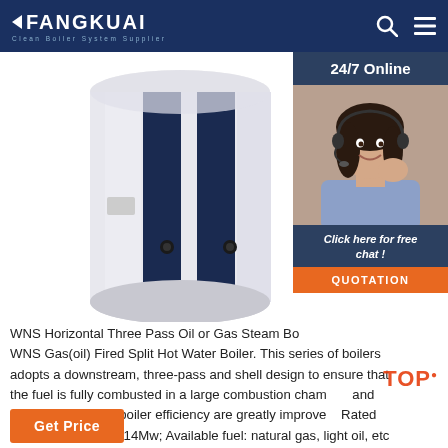FANGKUAI Clean Boiler System Supplier
[Figure (photo): Photo of a white and dark navy blue WNS horizontal cylindrical boiler tank, shown partially cropped from above on a white background. To the right is a customer service widget with '24/7 Online' header, a photo of a smiling female customer service representative wearing a headset, a 'Click here for free chat!' message, and an orange 'QUOTATION' button.]
WNS Horizontal Three Pass Oil or Gas Steam Boiler / WNS Gas(oil) Fired Split Hot Water Boiler. This series of boilers adopts a downstream, three-pass and shell design to ensure that the fuel is fully combusted in a large combustion chamber, and fuel utilization and boiler efficiency are greatly improved. Rated thermal power: 0.7-14Mw; Available fuel: natural gas, light oil, etc